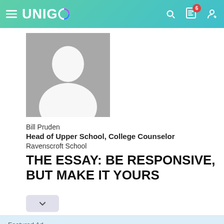UNIGO
[Figure (photo): Gray placeholder silhouette avatar image for Bill Pruden]
Bill Pruden
Head of Upper School, College Counselor
Ravenscroft School
THE ESSAY: BE RESPONSIVE, BUT MAKE IT YOURS
Featured Ad
Enter the $50,000 Scholarship from Niche.
Last day to enter is August 31st
APPLY NOW!